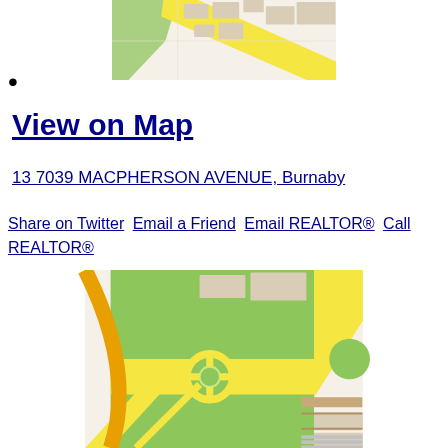[Figure (map): Top portion of a stylized road map showing streets, green areas, and beige building blocks, partially cropped]
•
View on Map
13 7039 MACPHERSON AVENUE, Burnaby
Share on Twitter  Email a Friend  Email REALTOR®  Call REALTOR®
[Figure (map): Bottom portion of a stylized road map showing a roundabout with green areas, yellow roads, orange road, and beige building blocks]